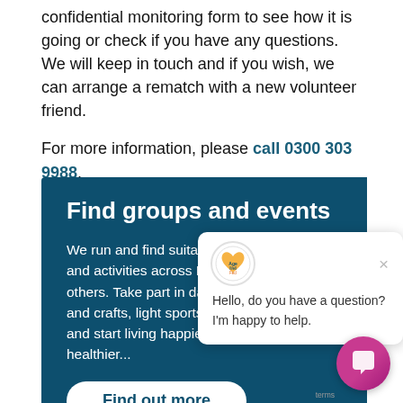confidential monitoring form to see how it is going or check if you have any questions. We will keep in touch and if you wish, we can arrange a rematch with a new volunteer friend.
For more information, please call 0300 303 9988.
Find groups and events
We run and find suitable groups and activities across B... with others. Take part in dancing, arts and crafts, light sports or knitting and start living happier and healthier...
Find out more